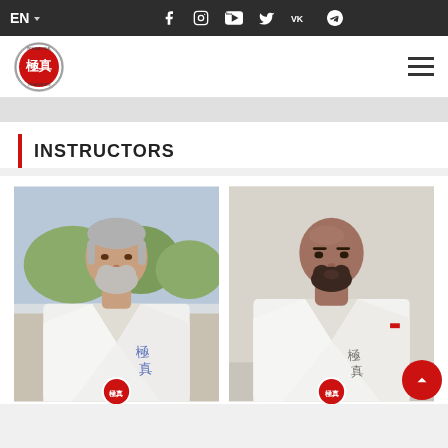EN — navigation bar with social icons (Facebook, Instagram, YouTube, Twitter, VK, Telegram)
[Figure (logo): Circular martial arts organization logo with Japanese characters on red background, surrounded by text border]
INSTRUCTORS
[Figure (photo): Older man with white/grey beard wearing a white karate gi (kimono) with Japanese kanji embroidery, standing outdoors with trees in background, organization badge at bottom]
[Figure (photo): Bald man with dark beard wearing a white karate gi with Japanese kanji embroidery, studio portrait on light grey background, organization badge at bottom]